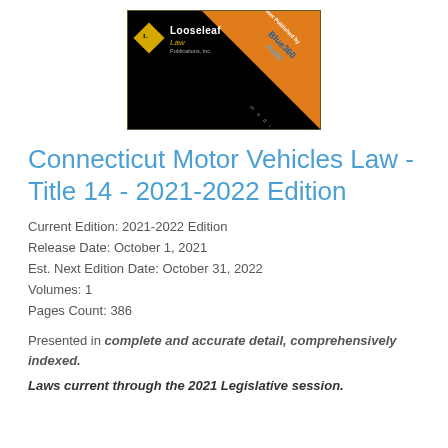[Figure (logo): Looseleaf Law Publications logo (black box with gold diamond and white text) with Blue360 Media orange diagonal banner overlay]
Connecticut Motor Vehicles Law - Title 14 - 2021-2022 Edition
Current Edition: 2021-2022 Edition
Release Date: October 1, 2021
Est. Next Edition Date: October 31, 2022
Volumes: 1
Pages Count: 386
Presented in complete and accurate detail, comprehensively indexed.
Laws current through the 2021 Legislative session.